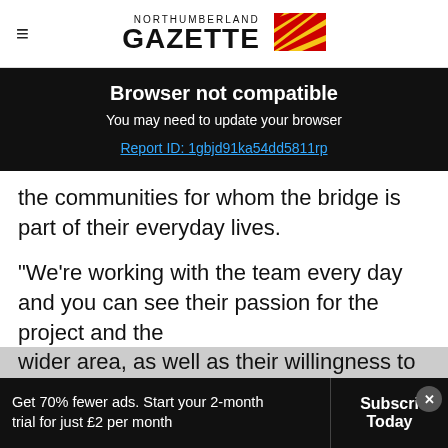Northumberland Gazette
Browser not compatible
You may need to update your browser
Report ID: 1gbjd91ka54dd5811rp
the communities for whom the bridge is part of their everyday lives.
“We’re working with the team every day and you can see their passion for the project and the wider area, as well as their willingness to go the extra mile in helping out locally.”
Get 70% fewer ads. Start your 2-month trial for just £2 per month | Subscribe Today